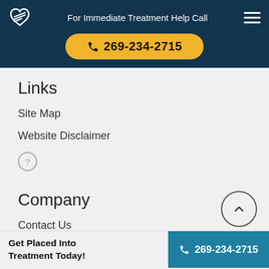For Immediate Treatment Help Call 269-234-2715
Links
Site Map
Website Disclaimer
[Figure (other): Question mark circle icon]
Company
Contact Us
Check Insurance
[Figure (other): Up arrow circle button]
Get Placed Into Treatment Today! 269-234-2715